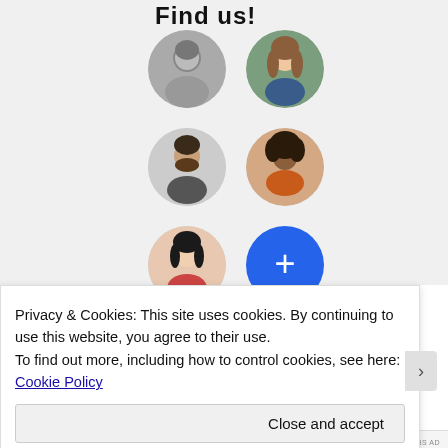Find us!
[Figure (illustration): A 2x3 grid of circular avatar photos of 5 people (man in B&W, woman with long hair, man with beard, woman with natural hair, Asian woman) and one blue circle with a plus sign for adding more.]
Privacy & Cookies: This site uses cookies. By continuing to use this website, you agree to their use.
To find out more, including how to control cookies, see here: Cookie Policy
Close and accept
REPORT THIS AD